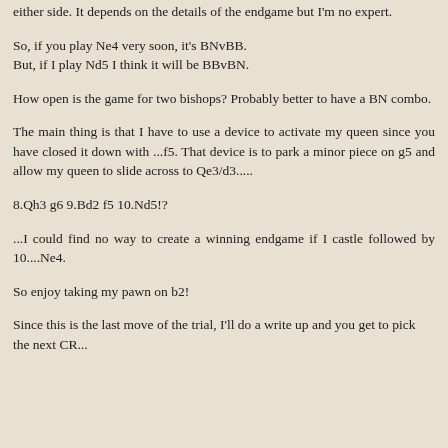either side. It depends on the details of the endgame but I'm no expert.
So, if you play Ne4 very soon, it's BNvBB.
But, if I play Nd5 I think it will be BBvBN.
How open is the game for two bishops? Probably better to have a BN combo.
The main thing is that I have to use a device to activate my queen since you have closed it down with ...f5. That device is to park a minor piece on g5 and allow my queen to slide across to Qe3/d3.....
8.Qh3 g6 9.Bd2 f5 10.Nd5!?
...I could find no way to create a winning endgame if I castle followed by 10....Ne4.
So enjoy taking my pawn on b2!
Since this is the last move of the trial, I'll do a write up and you get to pick the next CR...